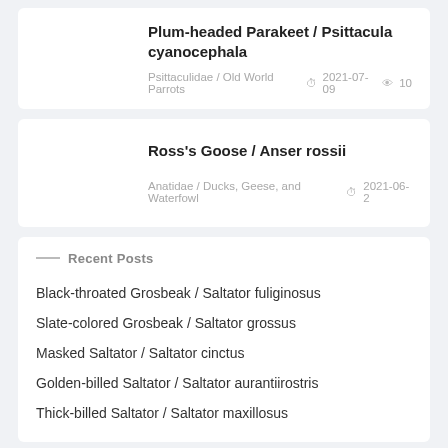Plum-headed Parakeet / Psittacula cyanocephala
Psittaculidae / Old World Parrots  2021-07-09  10
Ross's Goose / Anser rossii
Anatidae / Ducks, Geese, and Waterfowl  2021-06-2
Recent Posts
Black-throated Grosbeak / Saltator fuliginosus
Slate-colored Grosbeak / Saltator grossus
Masked Saltator / Saltator cinctus
Golden-billed Saltator / Saltator aurantiirostris
Thick-billed Saltator / Saltator maxillosus